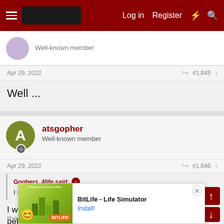Log in  Register
Well-known member
Apr 29, 2022   #1,845
Well ...
atsgopher
Well-known member
Apr 29, 2022   #1,846
Gophers_4life said: ↑
I say trade 12 to KC for 29 and 30. 😎
I was open to this before the draft. Was a little befuddled by their tra... eve... they ba... need to give... tion. A